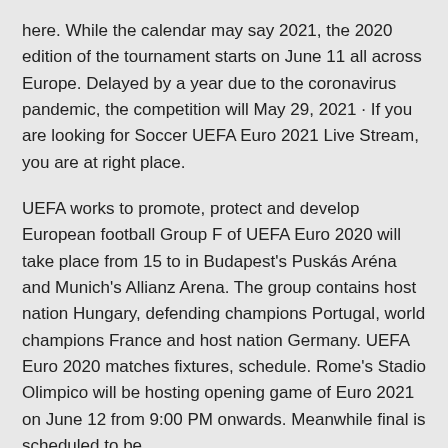here. While the calendar may say 2021, the 2020 edition of the tournament starts on June 11 all across Europe. Delayed by a year due to the coronavirus pandemic, the competition will May 29, 2021 · If you are looking for Soccer UEFA Euro 2021 Live Stream, you are at right place.
UEFA works to promote, protect and develop European football Group F of UEFA Euro 2020 will take place from 15 to in Budapest's Puskás Aréna and Munich's Allianz Arena. The group contains host nation Hungary, defending champions Portugal, world champions France and host nation Germany. UEFA Euro 2020 matches fixtures, schedule. Rome's Stadio Olimpico will be hosting opening game of Euro 2021 on June 12 from 9:00 PM onwards. Meanwhile final is scheduled to be